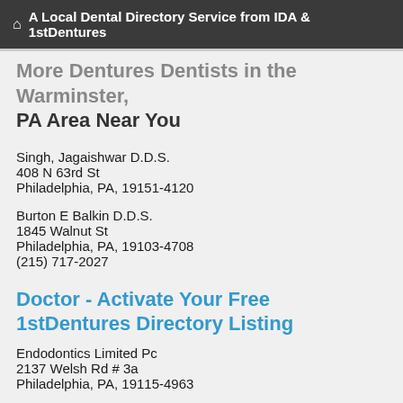A Local Dental Directory Service from IDA & 1stDentures
More Dentures Dentists in the Warminster, PA Area Near You
Singh, Jagaishwar D.D.S.
408 N 63rd St
Philadelphia, PA, 19151-4120
Burton E Balkin D.D.S.
1845 Walnut St
Philadelphia, PA, 19103-4708
(215) 717-2027
Doctor - Activate Your Free 1stDentures Directory Listing
Endodontics Limited Pc
2137 Welsh Rd # 3a
Philadelphia, PA, 19115-4963
Tec Endodontics
2546 S Broad St
Philadelphia, PA, 19145-4638